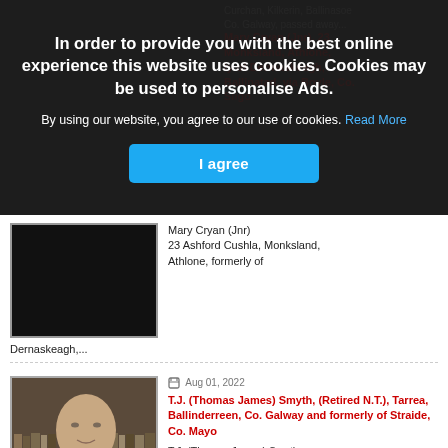[Figure (screenshot): Cookie consent overlay on a website showing an obituary/death notices page. Dark semi-transparent overlay with white bold text prompting user to agree to cookie usage.]
In order to provide you with the best online experience this website uses cookies. Cookies may be used to personalise Ads.
By using our website, you agree to our use of cookies. Read More
I agree
[Figure (photo): Partially visible dark portrait photo, obscured by cookie overlay.]
Mary Cryan (Jnr), 23 Ashford Cushla, Monksland, Athlone, formerly of Dernaskeagh,...
[Figure (photo): Portrait photo of an elderly man in a brown jacket with a tie, in front of bookshelves.]
Aug 01, 2022
T.J. (Thomas James) Smyth, (Retired N.T.), Tarrea, Ballinderreen, Co. Galway and formerly of Straide, Co. Mayo
T.J. (Thomas James) Smyth, (Retired N.T.)